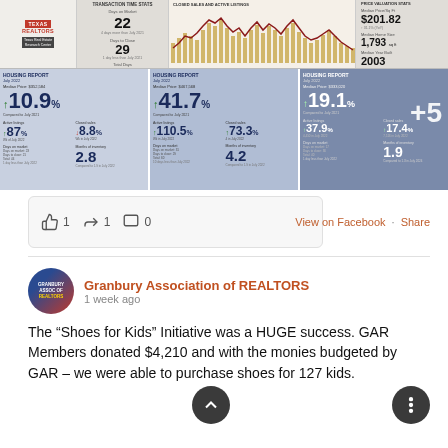[Figure (screenshot): Collage of Texas Realtors Housing Report cards showing July 2022 data, with metrics including median price changes (+10.9%, +41.7%, +19.1%), active listings (+87%, +110.5%, +37.9%), closed sales (-8.8%, +73.3%, +17.4%), months of inventory (2.8, 4.2, 1.9), and a chart of closed sales and active listings over time. Also shows transaction time stats including Days on Market: 22, Days to Close: 29, and price/sq ft stats: $201.82, median home size 1,793 sq ft, median year built 2003.]
1  1  0
View on Facebook · Share
Granbury Association of REALTORS
1 week ago
The “Shoes for Kids” Initiative was a HUGE success. GAR Members donated $4,210 and with the monies budgeted by GAR – we were able to purchase shoes for 127 kids.